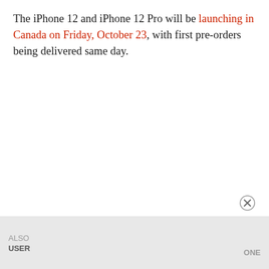The iPhone 12 and iPhone 12 Pro will be launching in Canada on Friday, October 23, with first pre-orders being delivered same day.
ALSO ... ONE USER...